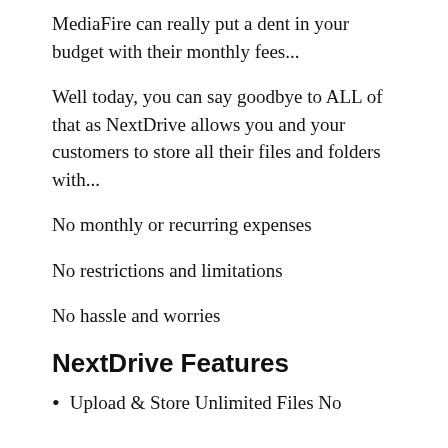MediaFire can really put a dent in your budget with their monthly fees...
Well today, you can say goodbye to ALL of that as NextDrive allows you and your customers to store all their files and folders with...
No monthly or recurring expenses
No restrictions and limitations
No hassle and worries
NextDrive Features
Upload & Store Unlimited Files No